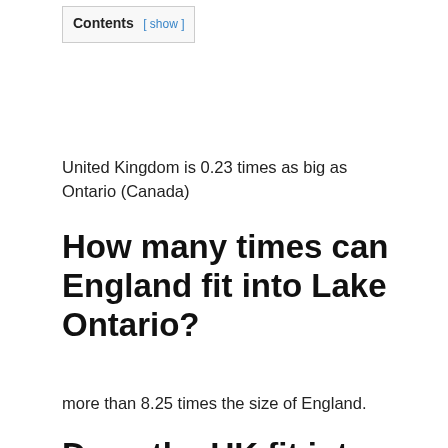Contents [ show ]
United Kingdom is 0.23 times as big as Ontario (Canada)
How many times can England fit into Lake Ontario?
more than 8.25 times the size of England.
Does the UK fit into Lake Ontario?
England is 1.58 times as big as Lake Superior